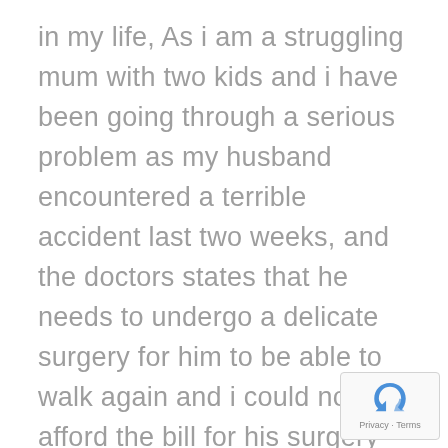in my life, As i am a struggling mum with two kids and i have been going through a serious problem as my husband encountered a terrible accident last two weeks, and the doctors states that he needs to undergo a delicate surgery for him to be able to walk again and i could not afford the bill for his surgery then i went to the bank for a loan and they turn me down stating that i have no credit card, from there i ran to my father and he was not able to help me, then when i was browsing through yahoo answers and i came across
[Figure (logo): reCAPTCHA badge with Privacy - Terms text]